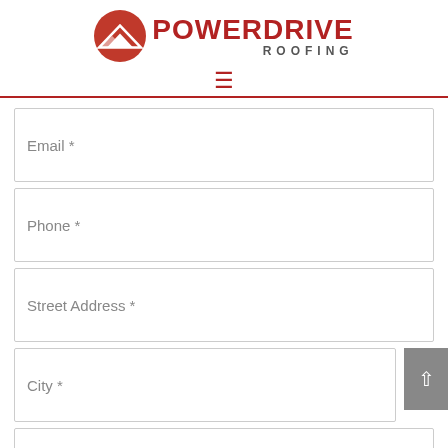[Figure (logo): PowerDrive Roofing logo with red circular mountain icon and red POWERDRIVE text with grey ROOFING subtitle]
[Figure (infographic): Hamburger menu icon (three horizontal lines) in red]
Email *
Phone *
Street Address *
City *
Zip / Postal Code *
Contact us
Service Required *